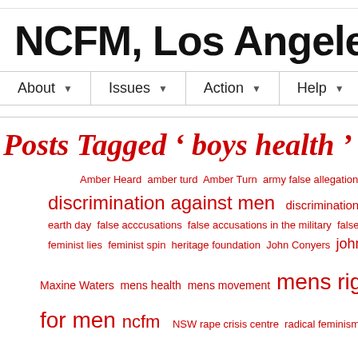NCFM, Los Angeles
About  Issues  Action  Help
Posts Tagged ‘ boys health ’
[Figure (infographic): Tag cloud in red text with various tag sizes: Amber Heard, amber turd, Amber Turn, army false allegations, boys health, discrimination against men, discrimination against women, earth day, false acccusations, false accusations in the military, false accusations, feminist lies, feminist spin, heritage foundation, John Conyers, johnny depp, Maxine Waters, mens health, mens movement, mens rights, ments rights, national coalition for men, ncfm, NSW rape crisis centre, radical feminism, Representatives]